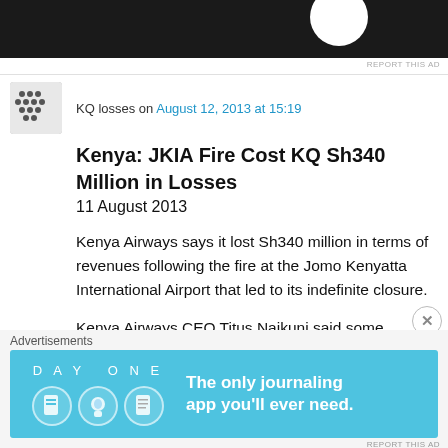[Figure (other): Dark advertisement banner at top with white circular element]
REPORT THIS AD
KQ losses on August 12, 2013 at 15:19
Kenya: JKIA Fire Cost KQ Sh340 Million in Losses
11 August 2013
Kenya Airways says it lost Sh340 million in terms of revenues following the fire at the Jomo Kenyatta International Airport that led to its indefinite closure.
Kenya Airways CEO Titus Naikuni said some
Advertisements
[Figure (other): DAY ONE journaling app advertisement banner in blue with icons and tagline]